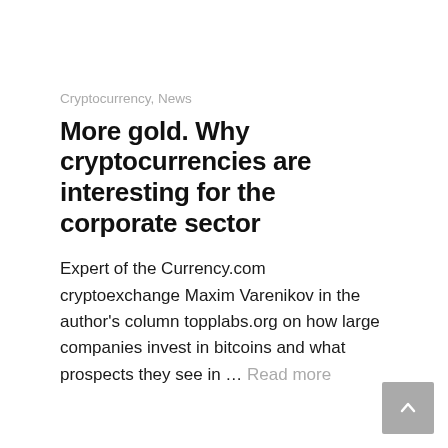Cryptocurrency, News
More gold. Why cryptocurrencies are interesting for the corporate sector
Expert of the Currency.com cryptoexchange Maxim Varenikov in the author's column topplabs.org on how large companies invest in bitcoins and what prospects they see in … Read more